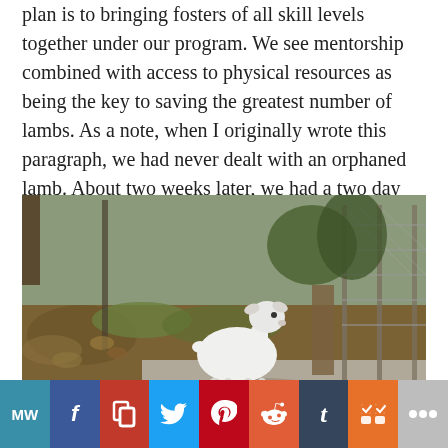plan is to bringing fosters of all skill levels together under our program. We see mentorship combined with access to physical resources as being the key to saving the greatest number of lambs. As a note, when I originally wrote this paragraph, we had never dealt with an orphaned lamb. About two weeks later, we had a two day old in our care.
[Figure (photo): A young white lamb standing outdoors on a concrete or dirt surface, next to a wire fence, with fallen leaves and grass in the background. Natural daylight outdoor setting.]
MW | f | P | (twitter bird) | P | (reddit alien) | t | m | <